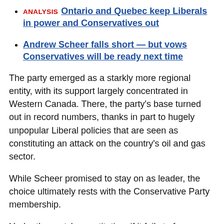ANALYSIS  Ontario and Quebec keep Liberals in power and Conservatives out
Andrew Scheer falls short — but vows Conservatives will be ready next time
The party emerged as a starkly more regional entity, with its support largely concentrated in Western Canada. There, the party's base turned out in record numbers, thanks in part to hugely unpopular Liberal policies that are seen as constituting an attack on the country's oil and gas sector.
While Scheer promised to stay on as leader, the choice ultimately rests with the Conservative Party membership.
Under the party's constitution, if it fails to form a